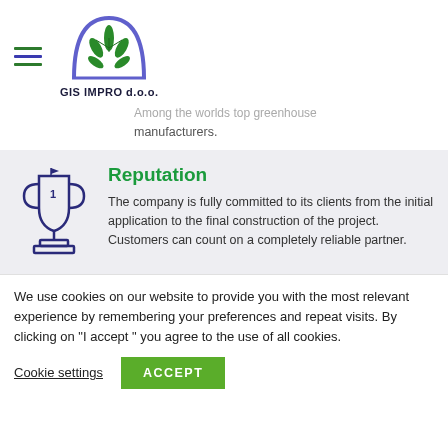[Figure (logo): GIS IMPRO d.o.o. company logo: a purple/blue arch with green leaf/plant icon inside, hamburger menu icon on the left, company name below]
Among the worlds top greenhouse manufacturers.
Reputation
The company is fully committed to its clients from the initial application to the final construction of the project. Customers can count on a completely reliable partner.
We use cookies on our website to provide you with the most relevant experience by remembering your preferences and repeat visits. By clicking on "I accept " you agree to the use of all cookies.
Cookie settings   ACCEPT